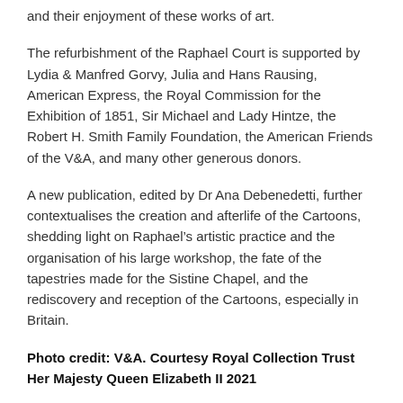and their enjoyment of these works of art.
The refurbishment of the Raphael Court is supported by Lydia & Manfred Gorvy, Julia and Hans Rausing, American Express, the Royal Commission for the Exhibition of 1851, Sir Michael and Lady Hintze, the Robert H. Smith Family Foundation, the American Friends of the V&A, and many other generous donors.
A new publication, edited by Dr Ana Debenedetti, further contextualises the creation and afterlife of the Cartoons, shedding light on Raphael’s artistic practice and the organisation of his large workshop, the fate of the tapestries made for the Sistine Chapel, and the rediscovery and reception of the Cartoons, especially in Britain.
Photo credit: V&A. Courtesy Royal Collection Trust Her Majesty Queen Elizabeth II 2021